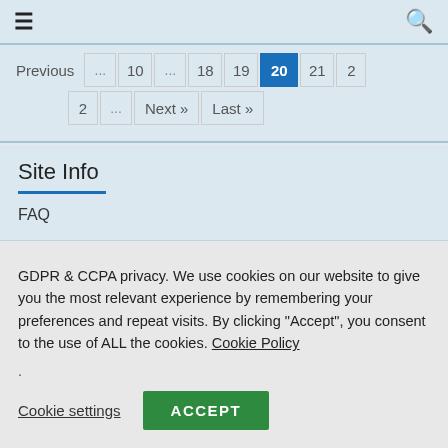≡ (hamburger menu) | Q (search icon)
Previous ... 10 ... 18 19 20 21 2 2 ... Next » Last »
Site Info
FAQ
GDPR & CCPA privacy. We use cookies on our website to give you the most relevant experience by remembering your preferences and repeat visits. By clicking "Accept", you consent to the use of ALL the cookies. Cookie Policy
.
Cookie settings  ACCEPT